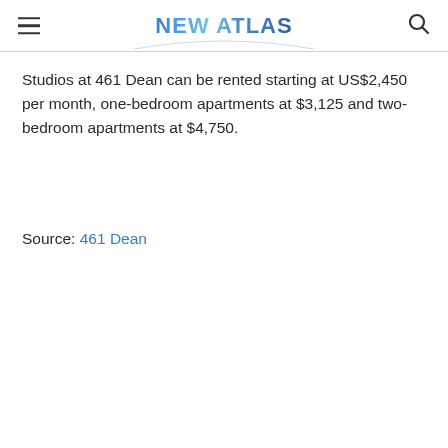NEW ATLAS
Studios at 461 Dean can be rented starting at US$2,450 per month, one-bedroom apartments at $3,125 and two-bedroom apartments at $4,750.
Source: 461 Dean